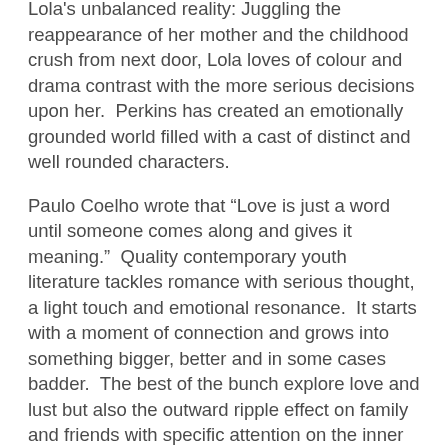Lola's unbalanced reality: Juggling the reappearance of her mother and the childhood crush from next door, Lola loves of colour and drama contrast with the more serious decisions upon her.  Perkins has created an emotionally grounded world filled with a cast of distinct and well rounded characters.
Paulo Coelho wrote that “Love is just a word until someone comes along and gives it meaning.”  Quality contemporary youth literature tackles romance with serious thought, a light touch and emotional resonance.  It starts with a moment of connection and grows into something bigger, better and in some cases badder.  The best of the bunch explore love and lust but also the outward ripple effect on family and friends with specific attention on the inner turmoil of the protagonist/s.
This is evident in John Green’s recent offering, The Fault in Our Stars, where the central concept is that of Hazel and the knowledge that her cancer has won the battle.  Coping with depression and knowledge that the end is nigh, she meets cancer survivor Augustus.  What could quite easily milk tears (and there are plenty of those) explores death and romance